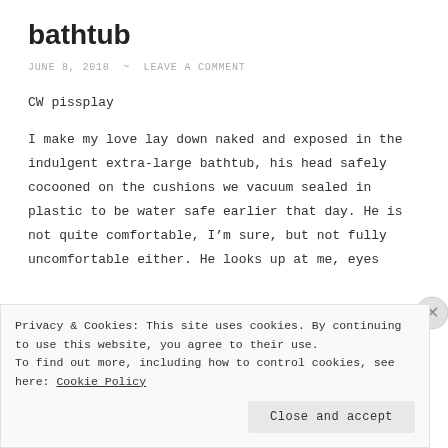bathtub
JUNE 8, 2018 ~ LEAVE A COMMENT
CW pissplay
I make my love lay down naked and exposed in the indulgent extra-large bathtub, his head safely cocooned on the cushions we vacuum sealed in plastic to be water safe earlier that day. He is not quite comfortable, I’m sure, but not fully uncomfortable either. He looks up at me, eyes
Privacy & Cookies: This site uses cookies. By continuing to use this website, you agree to their use.
To find out more, including how to control cookies, see here: Cookie Policy
Close and accept